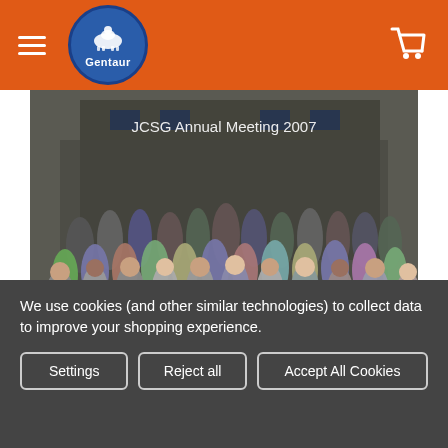Gentaur (logo) — navigation header with hamburger menu and cart icon
[Figure (photo): Group photo of approximately 80-100 people standing on outdoor steps in front of a building. Text overlay reads 'JCSG Annual Meeting 2007'.]
User:greekkopedr
We use cookies (and other similar technologies) to collect data to improve your shopping experience.
Settings | Reject all | Accept All Cookies